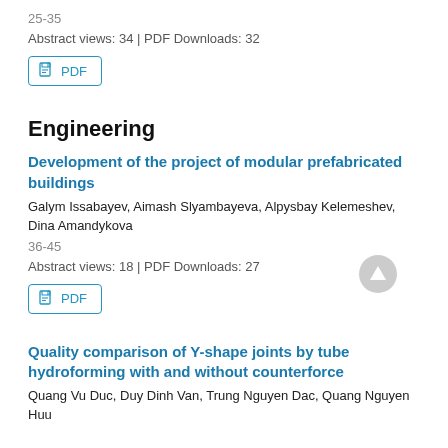25-35
Abstract views: 34 | PDF Downloads: 32
[Figure (other): PDF download button]
Engineering
Development of the project of modular prefabricated buildings
Galym Issabayev, Aimash Slyambayeva, Alpysbay Kelemeshev, Dina Amandykova
36-45
Abstract views: 18 | PDF Downloads: 27
[Figure (other): PDF download button]
Quality comparison of Y-shape joints by tube hydroforming with and without counterforce
Quang Vu Duc, Duy Dinh Van, Trung Nguyen Dac, Quang Nguyen Huu